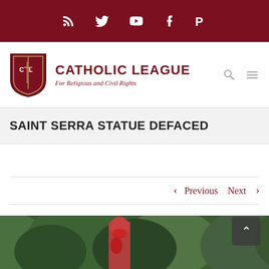Social media bar with RSS, Twitter, YouTube, Facebook, Parler icons
[Figure (logo): Catholic League logo: shield with CL monogram and sword, beside text 'CATHOLIC LEAGUE For Religious and Civil Rights']
SAINT SERRA STATUE DEFACED
< Previous   Next >
[Figure (photo): Photo of a statue (Saint Serra) defaced with red paint, surrounded by trees]